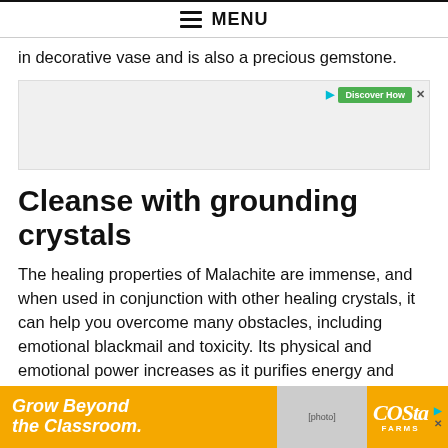MENU
in decorative vase and is also a precious gemstone.
[Figure (other): Advertisement banner with Discover How button in green and close/play icons]
Cleanse with grounding crystals
The healing properties of Malachite are immense, and when used in conjunction with other healing crystals, it can help you overcome many obstacles, including emotional blackmail and toxicity. Its physical and emotional power increases as it purifies energy and cleanses the aura. Malachite is
[Figure (other): Advertisement banner at bottom: Grow Beyond the Classroom. Costa Farms ad with yellow background and person holding plant.]